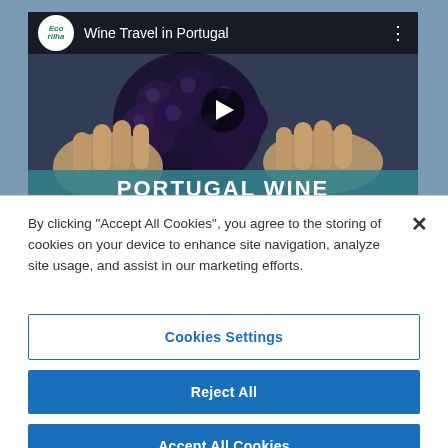[Figure (screenshot): YouTube-style video thumbnail showing 'Wine Travel in Portugal' with Ecorilha channel logo, hands holding dark grapes, play button overlay, and 'PORTUGAL WINE' banner at bottom]
By clicking “Accept All Cookies”, you agree to the storing of cookies on your device to enhance site navigation, analyze site usage, and assist in our marketing efforts.
Cookies Settings
Reject All
Accept All Cookies